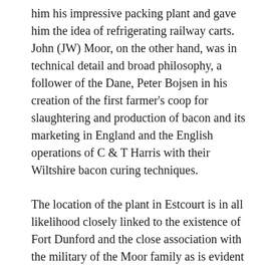him his impressive packing plant and gave him the idea of refrigerating railway carts. John (JW) Moor, on the other hand, was in technical detail and broad philosophy, a follower of the Dane, Peter Bojsen in his creation of the first farmer's coop for slaughtering and production of bacon and its marketing in England and the English operations of C & T Harris with their Wiltshire bacon curing techniques.
The location of the plant in Estcourt is in all likelihood closely linked to the existence of Fort Dunford and the close association with the military of the Moor family as is evident not only through the heritage of their grandfather but through their close involvement in the